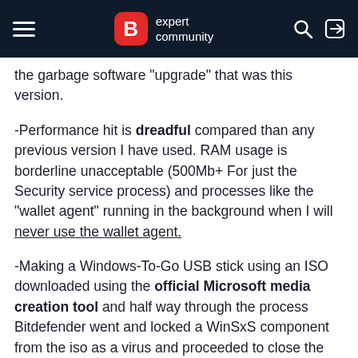B expert community
the garbage software "upgrade" that was this version.
-Performance hit is dreadful compared than any previous version I have used. RAM usage is borderline unacceptable (500Mb+ For just the Security service process) and processes like the "wallet agent" running in the background when I will never use the wallet agent.
-Making a Windows-To-Go USB stick using an ISO downloaded using the official Microsoft media creation tool and half way through the process Bitdefender went and locked a WinSxS component from the iso as a virus and proceeded to close the program do to "Malicious activity" and completely locked the files causing me having to disable every component I could in Bitdefender